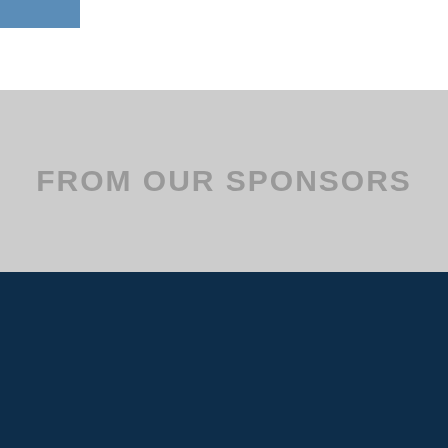[Figure (logo): Blue rectangle in top-left corner]
FROM OUR SPONSORS
[Figure (logo): International Carwash Association globe logo with organization name]
Contact Us   Submit A Story
Advertising Opportunities
International Carwash Association™